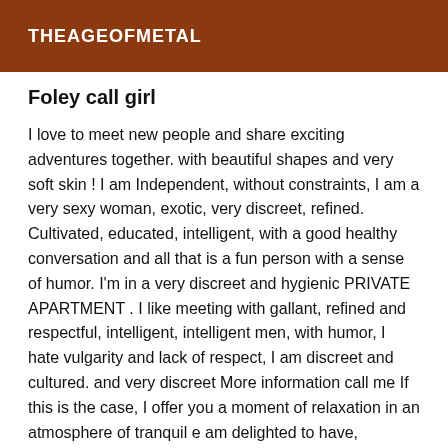THEAGEOFMETAL
Foley call girl
I love to meet new people and share exciting adventures together. with beautiful shapes and very soft skin ! I am Independent, without constraints, I am a very sexy woman, exotic, very discreet, refined. Cultivated, educated, intelligent, with a good healthy conversation and all that is a fun person with a sense of humor. I'm in a very discreet and hygienic PRIVATE APARTMENT . I like meeting with gallant, refined and respectful, intelligent, intelligent men, with humor, I hate vulgarity and lack of respect, I am discreet and cultured. and very discreet More information call me If this is the case, I offer you a moment of relaxation in an atmosphere of tranquil e am delighted to have, perhaps, disturbed your gaze or simply titillated your curiosity, and welcome to my ad! If you are passing through this city, looking for moments of relaxation; so I propose you my Service(s)